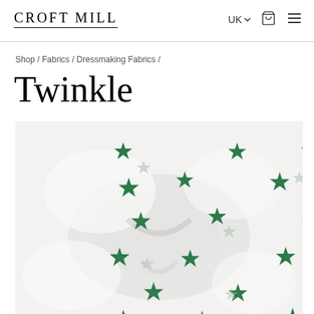Croft Mill
Shop / Fabrics / Dressmaking Fabrics /
Twinkle
[Figure (photo): Close-up photo of white fabric with green star pattern, folded to show texture and print detail. Stars are dark forest green, scattered across a white/cream background.]